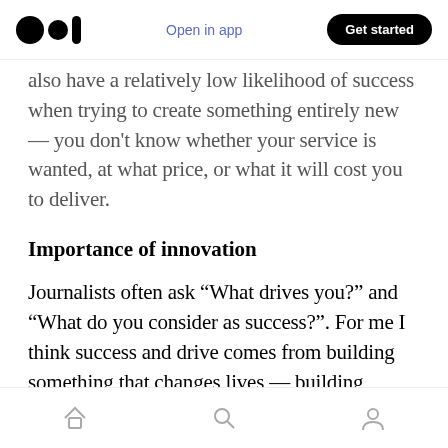Medium logo | Open in app | Get started
also have a relatively low likelihood of success when trying to create something entirely new — you don't know whether your service is wanted, at what price, or what it will cost you to deliver.
Importance of innovation
Journalists often ask “What drives you?” and “What do you consider as success?”. For me I think success and drive comes from building something that changes lives — building something amazing — something that pushes boundaries — something innovative. As Steve
Home | Search | Profile